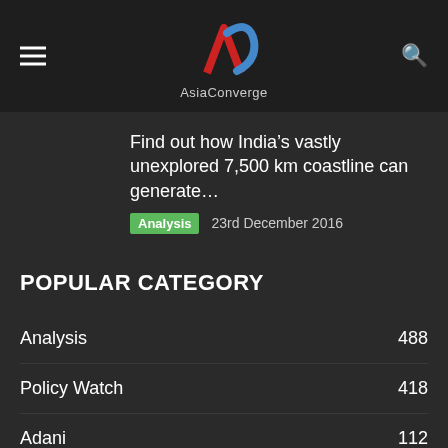AsiaConverge
Find out how India’s vastly unexplored 7,500 km coastline can generate…
Analysis  23rd December 2016
POPULAR CATEGORY
Analysis  488
Policy Watch  418
Adani  112
JMulraj  95
China  80
Interview  59